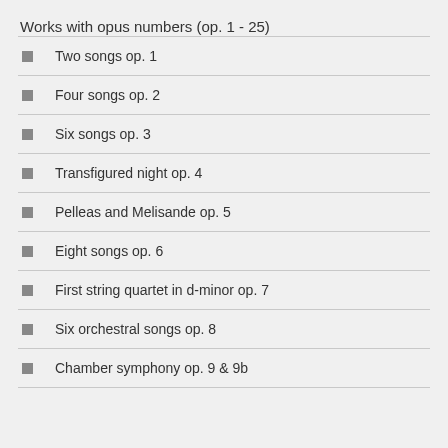Works with opus numbers (op. 1 - 25)
Two songs op. 1
Four songs op. 2
Six songs op. 3
Transfigured night op. 4
Pelleas and Melisande op. 5
Eight songs op. 6
First string quartet in d-minor op. 7
Six orchestral songs op. 8
Chamber symphony op. 9 & 9b